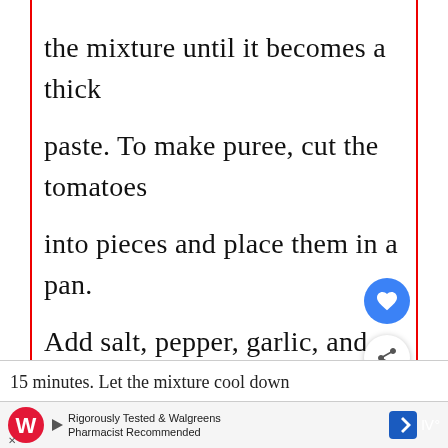the mixture until it becomes a thick paste. To make puree, cut the tomatoes into pieces and place them in a pan. Add salt, pepper, garlic, and sugar. Heat the mixture and let it simmer fo...
15 minutes. Let the mixture cool down
[Figure (screenshot): UI overlay elements: blue heart button, white share button, and a 'What's Next' recommendation card showing a food image and text 'What happens if you eat...']
Rigorously Tested & Walgreens Pharmacist Recommended